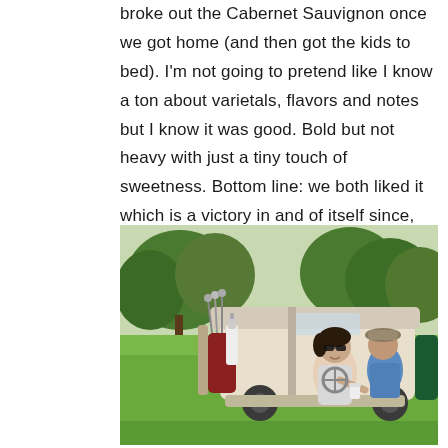broke out the Cabernet Sauvignon once we got home (and then got the kids to bed). I'm not going to pretend like I know a ton about varietals, flavors and notes but I know it was good. Bold but not heavy with just a tiny touch of sweetness. Bottom line: we both liked it which is a victory in and of itself since, like golf, we don't always love the same things.
[Figure (photo): Two people riding a golf cart on a golf course. A woman in sunglasses and a sleeveless top sits in the driver's seat smiling, while a man in a blue shirt and hat sits in the passenger seat. Golf bags are visible on the back of the cart. Green trees and grass are in the background.]